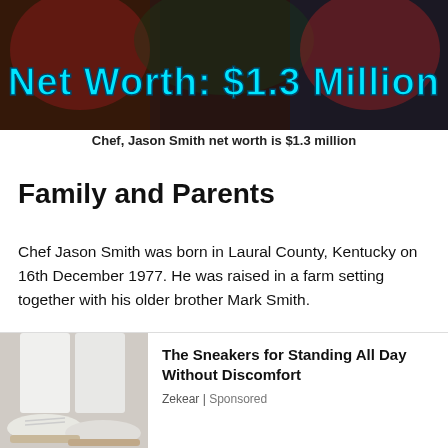[Figure (photo): Photo of people in Christmas sweaters with cyan text overlay reading 'Net Worth: $1.3 Million']
Chef, Jason Smith net worth is $1.3 million
Family and Parents
Chef Jason Smith was born in Laural County, Kentucky on 16th December 1977. He was raised in a farm setting together with his older brother Mark Smith.
[Figure (photo): Advertisement showing sneakers on feet with caption: The Sneakers for Standing All Day Without Discomfort. Zekear | Sponsored]